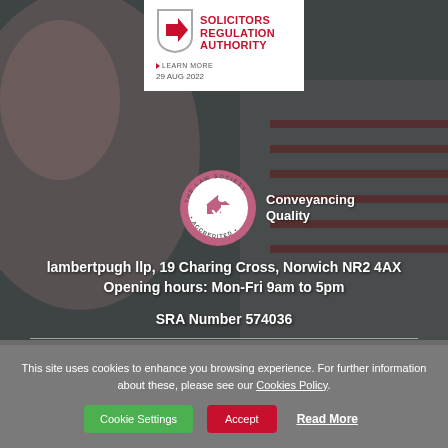[Figure (logo): Solicitors Regulation Authority logo with red arrow in shield, SRA text, LEARN MORE link, dated 29 AUG 2022]
[Figure (logo): The Law Society Accredited - Conveyancing Quality badge/seal]
lambertpugh llp, 19 Charing Cross, Norwich NR2 4AX
Opening hours: Mon-Fri 9am to 5pm
SRA Number 574036
This site uses cookies to enhance you browsing experience. For further information about these, please see our Cookies Policy.
Cookie Settings   Accept   Read More